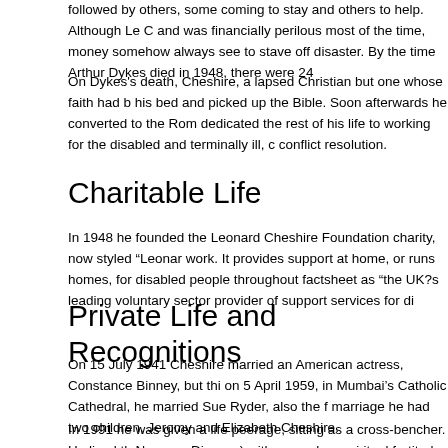followed by others, some coming to stay and others to help. Although Le C and was financially perilous most of the time, money somehow always see to stave off disaster. By the time Arthur Dykes died in 1948, there were 24
On Dykes's death, Cheshire, a lapsed Christian but one whose faith had b his bed and picked up the Bible. Soon afterwards he converted to the Rom dedicated the rest of his life to working for the disabled and terminally ill, c conflict resolution.
Charitable Life
In 1948 he founded the Leonard Cheshire Foundation charity, now styled "Leonar work. It provides support at home, or runs homes, for disabled people throughout factsheet as "the UK?s leading voluntary sector provider of support services for di
Private Life and Recognitions
On 15 July 1941 Cheshire married an American actress, Constance Binney, but thi on 5 April 1959, in Mumbai's Catholic Cathedral, he married Sue Ryder, also the f marriage he had two children, Jeromy and Elizabeth Cheshire.
In 1991 he was given a life peerage, sitting as a cross-bencher. He lived th Neurone Disease) with exemplary spiritual fortitude. Queen Elizabeth II pa Christmas message to the Commonwealth in December 1992. In the 2002 Greatest Britons, Cheshire attained position 31. His Victoria Cross is displa